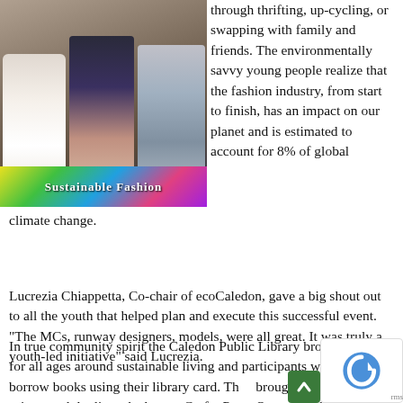[Figure (photo): Three young people standing on a colorful graphic floor mat/banner with event branding. They are dressed in various sustainable fashion outfits. Bright multicolored banner visible at bottom.]
through thrifting, up-cycling, or swapping with family and friends. The environmentally savvy young people realize that the fashion industry, from start to finish, has an impact on our planet and is estimated to account for 8% of global climate change.
Lucrezia Chiappetta, Co-chair of ecoCaledon, gave a big shout out to all the youth that helped plan and execute this successful event. “The MCs, runway designers, models, were all great. It was truly a youth-led initiative” said Lucrezia.
In true community spirit the Caledon Public Library brought books for all ages around sustainable living and participants were able to borrow books using their library card. Th... brought the library’s 3D printer and duplicated a butt... Crafty Party Queen handled fashion show decor and ...